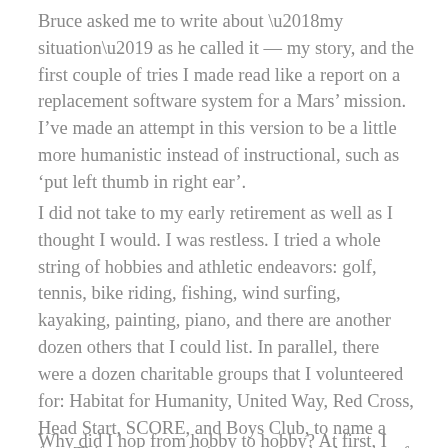Bruce asked me to write about ‘my situation’ as he called it — my story, and the first couple of tries I made read like a report on a replacement software system for a Mars’ mission. I’ve made an attempt in this version to be a little more humanistic instead of instructional, such as ‘put left thumb in right ear’.
I did not take to my early retirement as well as I thought I would. I was restless. I tried a whole string of hobbies and athletic endeavors: golf, tennis, bike riding, fishing, wind surfing, kayaking, painting, piano, and there are another dozen others that I could list. In parallel, there were a dozen charitable groups that I volunteered for: Habitat for Humanity, United Way, Red Cross, Head Start, SCORE, and Boys Club, to name a few. This attempt at being an author is also part of this story thanks to Bruce.
Why did I hop from hobby to hobby? At first, I was looking